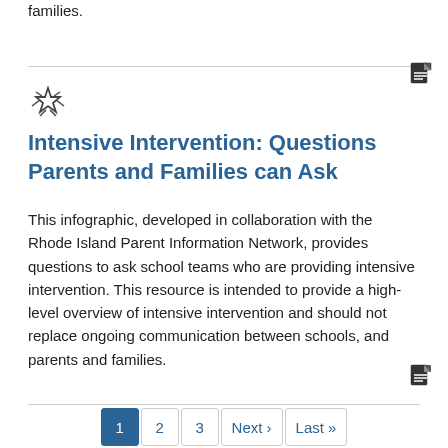families.
Intensive Intervention: Questions Parents and Families can Ask
This infographic, developed in collaboration with the Rhode Island Parent Information Network, provides questions to ask school teams who are providing intensive intervention. This resource is intended to provide a high-level overview of intensive intervention and should not replace ongoing communication between schools, and parents and families.
1  2  3  Next ›  Last »